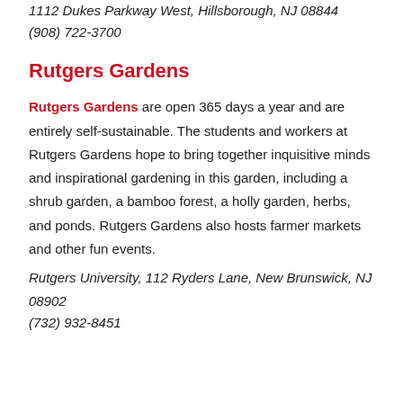1112 Dukes Parkway West, Hillsborough, NJ 08844
(908) 722-3700
Rutgers Gardens
Rutgers Gardens are open 365 days a year and are entirely self-sustainable. The students and workers at Rutgers Gardens hope to bring together inquisitive minds and inspirational gardening in this garden, including a shrub garden, a bamboo forest, a holly garden, herbs, and ponds. Rutgers Gardens also hosts farmer markets and other fun events.
Rutgers University, 112 Ryders Lane, New Brunswick, NJ 08902
(732) 932-8451